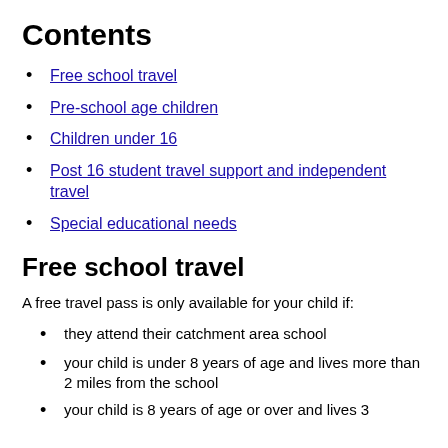Contents
Free school travel
Pre-school age children
Children under 16
Post 16 student travel support and independent travel
Special educational needs
Free school travel
A free travel pass is only available for your child if:
they attend their catchment area school
your child is under 8 years of age and lives more than 2 miles from the school
your child is 8 years of age or over and lives 3